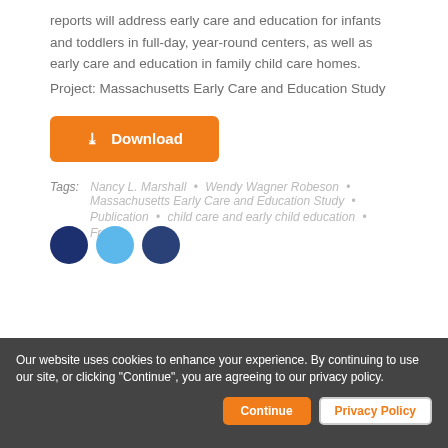reports will address early care and education for infants and toddlers in full-day, year-round centers, as well as early care and education in family child care homes.
Project: Massachusetts Early Care and Education Study
[Figure (other): Orange download button with download icon and label 'Download']
Tags: Nancy L. Marshall • Wendy Wagner Robeson • Massachusetts Early Care and Education Study • Publication • child care and early child education • Free
[Figure (other): Social media icons: Facebook (dark blue circle), Twitter (light blue circle), LinkedIn (dark blue circle)]
Our website uses cookies to enhance your experience. By continuing to use our site, or clicking "Continue", you are agreeing to our privacy policy.